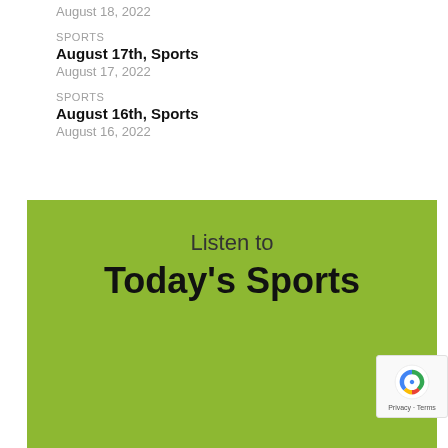August 18, 2022
SPORTS
August 17th, Sports
August 17, 2022
SPORTS
August 16th, Sports
August 16, 2022
[Figure (other): Green promotional banner with text 'Listen to Today's Sports' and a reCAPTCHA badge in the bottom right corner]